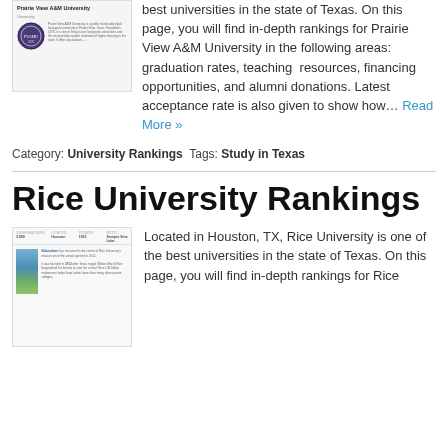[Figure (screenshot): Thumbnail screenshot of Prairie View A&M University Wikipedia-style page with university logo and text]
best universities in the state of Texas. On this page, you will find in-depth rankings for Prairie View A&M University in the following areas: graduation rates, teaching resources, financing opportunities, and alumni donations. Latest acceptance rate is also given to show how… Read More »
Category: University Rankings  Tags: Study in Texas
Rice University Rankings
[Figure (screenshot): Thumbnail screenshot of Rice University page with campus photo and education text]
Located in Houston, TX, Rice University is one of the best universities in the state of Texas. On this page, you will find in-depth rankings for Rice